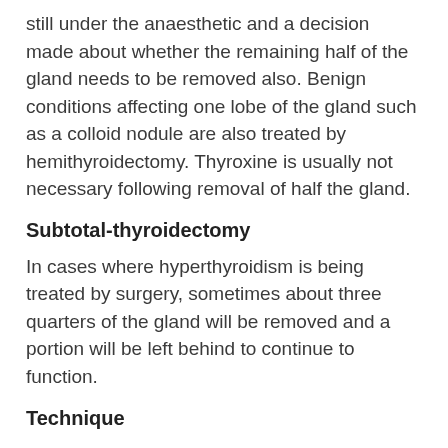still under the anaesthetic and a decision made about whether the remaining half of the gland needs to be removed also. Benign conditions affecting one lobe of the gland such as a colloid nodule are also treated by hemithyroidectomy. Thyroxine is usually not necessary following removal of half the gland.
Subtotal-thyroidectomy
In cases where hyperthyroidism is being treated by surgery, sometimes about three quarters of the gland will be removed and a portion will be left behind to continue to function.
Technique
Thyroid surgery is performed under general anaesthesia through a horizontal incision low down in the front of the neck. The incision can vary in length depending on the